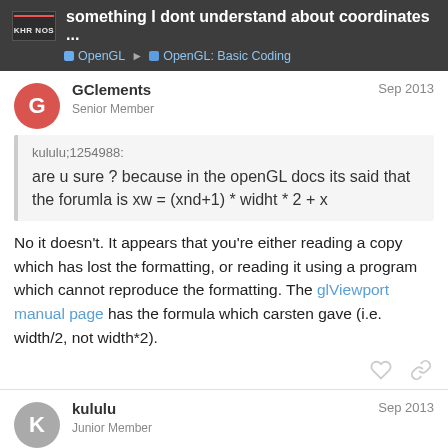something I dont understand about coordinates ... | OpenGL | OpenGL: Basic Coding
GClements
Senior Member
Sep 2013
kululu;1254988:
are u sure ? because in the openGL docs its said that the forumla is xw = (xnd+1) * widht * 2 + x
No it doesn't. It appears that you're either reading a copy which has lost the formatting, or reading it using a program which cannot reproduce the formatting. The glViewport manual page has the formula which carsten gave (i.e. width/2, not width*2).
kululu
Junior Member
Sep 2013
3 / 10